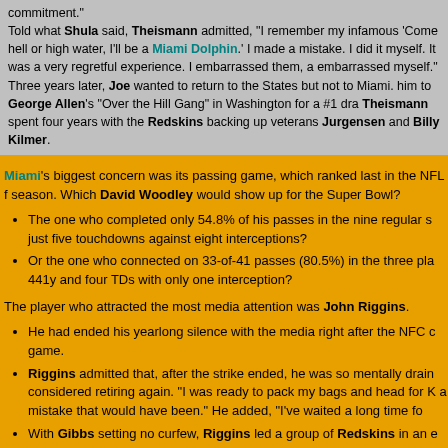commitment."
Told what Shula said, Theismann admitted, "I remember my infamous 'Come hell or high water, I'll be a Miami Dolphin.' I made a mistake. I did it myself. It was a very regretful experience. I embarrassed them, a embarrassed myself."
Three years later, Joe wanted to return to the States but not to Miami. him to George Allen's "Over the Hill Gang" in Washington for a #1 dra Theismann spent four years with the Redskins backing up veterans Jurgensen and Billy Kilmer.
Miami's biggest concern was its passing game, which ranked last in the NFL f season. Which David Woodley would show up for the Super Bowl?
The one who completed only 54.8% of his passes in the nine regular s just five touchdowns against eight interceptions?
Or the one who connected on 33-of-41 passes (80.5%) in the three pla 441y and four TDs with only one interception?
The player who attracted the most media attention was John Riggins.
He had ended his yearlong silence with the media right after the NFC c game.
Riggins admitted that, after the strike ended, he was so mentally drain considered retiring again. "I was ready to pack my bags and head for K a mistake that would have been." He added, "I've waited a long time fo
With Gibbs setting no curfew, Riggins led a group of Redskins in an e Los Angeles nightlife Tuesday evening. "We hit the town and got in abo said Russ Grimm. "We drank a few beers, had a few shots here and th staggering drunk, but we had a little buzz on." When they got back to th delivered early wakeup calls to their teammates.
T Joe Jacoby, one of the Hogs, recalled, "We did have our fun, but w disciplined enough not to gt into trouble. After that we got down to bu